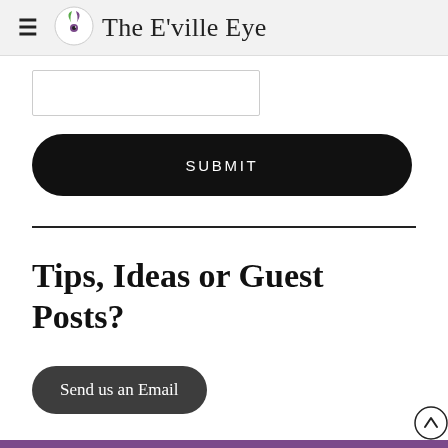The E'ville Eye
[Figure (other): Input text field (partially visible, white box with border)]
SUBMIT
Tips, Ideas or Guest Posts?
Send us an Email